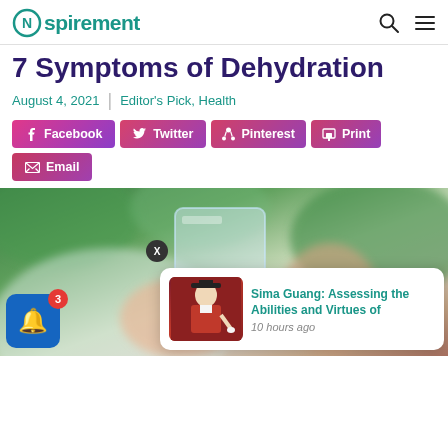Nspirement
7 Symptoms of Dehydration
August 4, 2021 | Editor's Pick, Health
Facebook | Twitter | Pinterest | Print | Email
[Figure (photo): Person holding a clear glass of water outdoors with green blurred background. Notification popup shows 'Sima Guang: Assessing the Abilities and Virtues of' with a thumbnail image of a robed figure. Notification bell with badge showing '3'.]